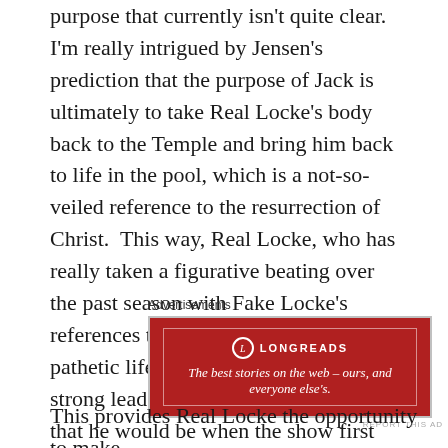purpose that currently isn't quite clear.  I'm really intrigued by Jensen's prediction that the purpose of Jack is ultimately to take Real Locke's body back to the Temple and bring him back to life in the pool, which is a not-so-veiled reference to the resurrection of Christ.  This way, Real Locke, who has really taken a figurative beating over the past season with Fake Locke's references that Real Locke led a pathetic life, will end up being the strong leader that we originally thought that he would be when the show first started.
[Figure (other): Longreads advertisement banner: red background with Longreads logo and tagline 'The best stories on the web — ours, and everyone else's.']
This provides Real Locke the opportunity to make